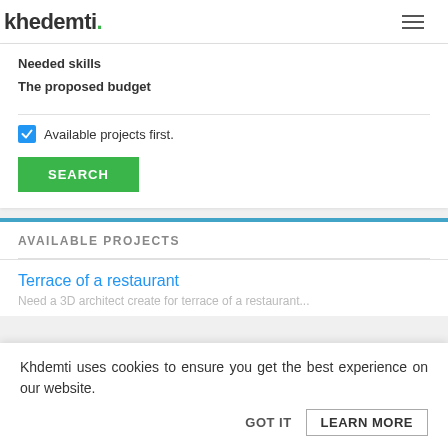khdemti
Needed skills
The proposed budget
Available projects first.
SEARCH
AVAILABLE PROJECTS
Terrace of a restaurant
Khdemti uses cookies to ensure you get the best experience on our website.
GOT IT
LEARN MORE